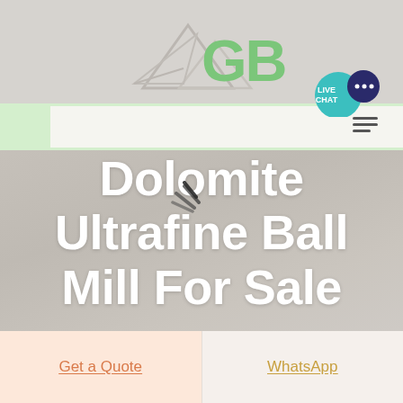[Figure (logo): GBM company logo with mountain/paper plane icon in light gray and green GBM text]
[Figure (screenshot): Live Chat button bubble in teal/dark blue with speech bubble icon]
Dolomite Ultrafine Ball Mill For Sale
[Figure (other): Loading spinner graphic overlaid on hero image]
Get a Quote
WhatsApp